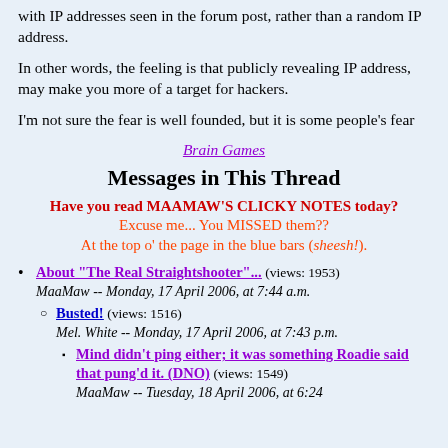with IP addresses seen in the forum post, rather than a random IP address.
In other words, the feeling is that publicly revealing IP address, may make you more of a target for hackers.
I'm not sure the fear is well founded, but it is some people's fear
Brain Games
Messages in This Thread
Have you read MAAMAW'S CLICKY NOTES today? Excuse me... You MISSED them?? At the top o' the page in the blue bars (sheesh!).
About "The Real Straightshooter"... (views: 1953) MaaMaw -- Monday, 17 April 2006, at 7:44 a.m.
Busted! (views: 1516) Mel. White -- Monday, 17 April 2006, at 7:43 p.m.
Mind didn't ping either; it was something Roadie said that pung'd it. (DNO) (views: 1549) MaaMaw -- Tuesday, 18 April 2006, at 6:24